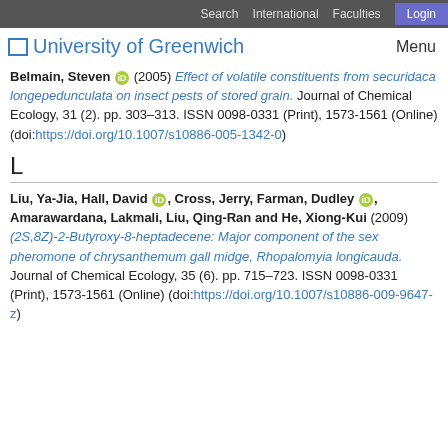Search  International  Faculties  Login
University of Greenwich   Menu
Belmain, Steven (2005) Effect of volatile constituents from securidaca longepedunculata on insect pests of stored grain. Journal of Chemical Ecology, 31 (2). pp. 303-313. ISSN 0098-0331 (Print), 1573-1561 (Online) (doi:https://doi.org/10.1007/s10886-005-1342-0)
L
Liu, Ya-Jia, Hall, David, Cross, Jerry, Farman, Dudley, Amarawardana, Lakmali, Liu, Qing-Ran and He, Xiong-Kui (2009) (2S,8Z)-2-Butyroxy-8-heptadecene: Major component of the sex pheromone of chrysanthemum gall midge, Rhopalomyia longicauda. Journal of Chemical Ecology, 35 (6). pp. 715-723. ISSN 0098-0331 (Print), 1573-1561 (Online) (doi:https://doi.org/10.1007/s10886-009-9647-z)